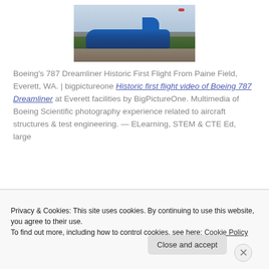[Figure (photo): Boeing 787 Dreamliner on tarmac at Paine Field, Everett WA, with trees in background and helicopter visible in sky]
Boeing's 787 Dreamliner Historic First Flight From Paine Field, Everett, WA. | bigpictureone Historic first flight video of Boeing 787 Dreamliner at Everett facilities by BigPictureOne. Multimedia of Boeing Scientific photography experience related to aircraft structures & test engineering. — ELearning, STEM & CTE Ed, large
Privacy & Cookies: This site uses cookies. By continuing to use this website, you agree to their use.
To find out more, including how to control cookies, see here: Cookie Policy